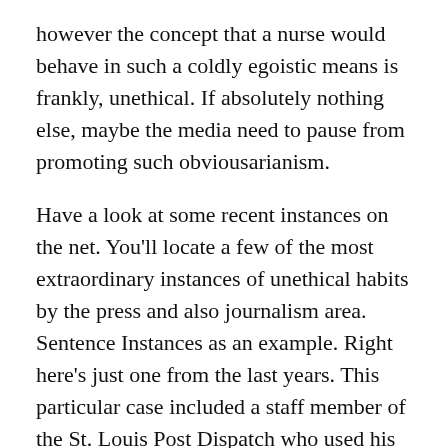however the concept that a nurse would behave in such a coldly egoistic means is frankly, unethical. If absolutely nothing else, maybe the media need to pause from promoting such obviousarianism.
Have a look at some recent instances on the net. You'll locate a few of the most extraordinary instances of unethical habits by the press and also journalism area. Sentence Instances as an example. Right here's just one from the last years. This particular case included a staff member of the St. Louis Post Dispatch who used his personal blog site to rail against the Obama administration. He made clear threats to assassinate President Obama and referred to the Columbine shootings in Colorado Springs.
Currently after that, I do not find out about you, yet I would certainly state that the “New Media” has taken